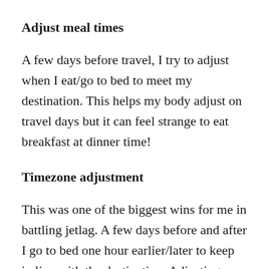Adjust meal times
A few days before travel, I try to adjust when I eat/go to bed to meet my destination. This helps my body adjust on travel days but it can feel strange to eat breakfast at dinner time!
Timezone adjustment
This was one of the biggest wins for me in battling jetlag. A few days before and after I go to bed one hour earlier/later to keep in line with the destination. Adjusting my natural circadian rhythm is useful for trips that last a week or